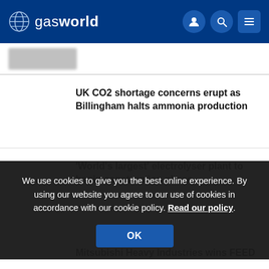gasworld
[Figure (other): Blurred image thumbnail placeholder]
UK CO2 shortage concerns erupt as Billingham halts ammonia production
'World's largest' electrolyser plant to begin construction phase
We use cookies to give you the best online experience. By using our website you agree to our use of cookies in accordance with our cookie policy. Read our policy.
OK
Mitsubishi Heavy Industries wins FEED